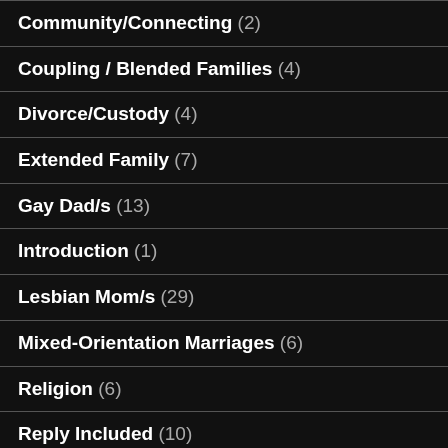Community/Connecting (2)
Coupling / Blended Families (4)
Divorce/Custody (4)
Extended Family (7)
Gay Dad/s (13)
Introduction (1)
Lesbian Mom/s (29)
Mixed-Orientation Marriages (6)
Religion (6)
Reply Included (10)
School (7)
Straight Husband (7)
Straight Wife (7)